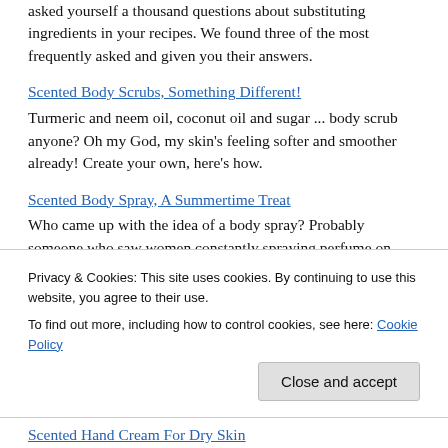asked yourself a thousand questions about substituting ingredients in your recipes. We found three of the most frequently asked and given you their answers.
Scented Body Scrubs, Something Different!
Turmeric and neem oil, coconut oil and sugar ... body scrub anyone? Oh my God, my skin's feeling softer and smoother already! Create your own, here's how.
Scented Body Spray, A Summertime Treat
Who came up with the idea of a body spray? Probably someone who saw women constantly spraying perfume on their clothing and thought what a waste. Body sprays are great for summertime scenting. They're light and airy. You can smell good in different
Privacy & Cookies: This site uses cookies. By continuing to use this website, you agree to their use.
To find out more, including how to control cookies, see here: Cookie Policy
Close and accept
Scented Hand Cream For Dry Skin